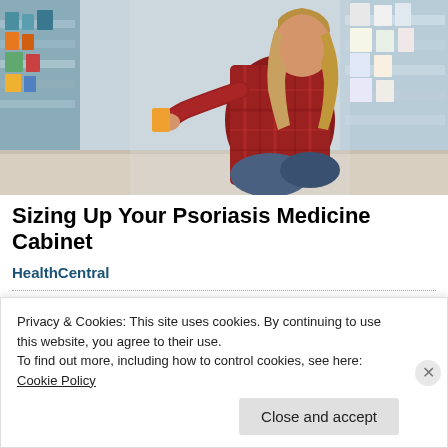[Figure (photo): Woman in a plaid shirt crouching in a pharmacy/drugstore aisle, reading the label of a product from the shelf. Store shelves with various products visible in background.]
Sizing Up Your Psoriasis Medicine Cabinet
HealthCentral
Share this:
LinkedIn  Reddit  Email  Tumblr  Print
Privacy & Cookies: This site uses cookies. By continuing to use this website, you agree to their use.
To find out more, including how to control cookies, see here: Cookie Policy
Close and accept